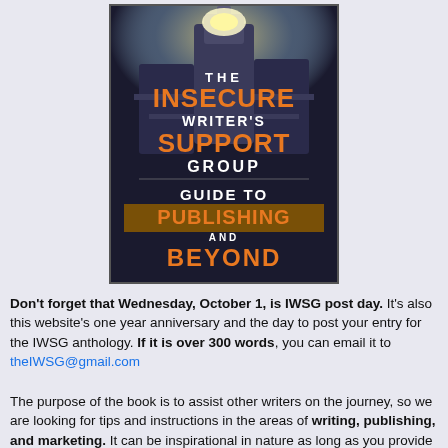[Figure (illustration): Book cover for 'The Insecure Writer's Support Group Guide to Publishing and Beyond'. Dark background with industrial/gothic tower imagery. Title text in large orange and white letters.]
Don't forget that Wednesday, October 1, is IWSG post day. It's also this website's one year anniversary and the day to post your entry for the IWSG anthology. If it is over 300 words, you can email it to theIWSG@gmail.com
The purpose of the book is to assist other writers on the journey, so we are looking for tips and instructions in the areas of writing, publishing, and marketing. It can be inspirational in nature as long as you provide a solid benefit